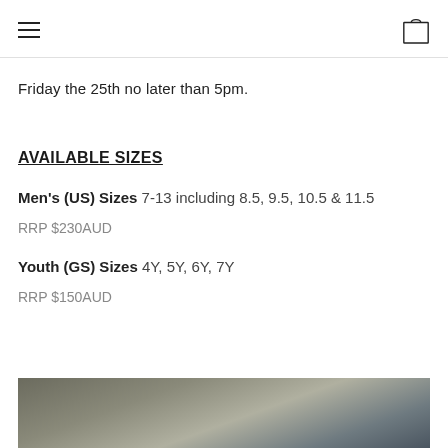navigation header with hamburger menu and bag icon
Friday the 25th no later than 5pm.
AVAILABLE SIZES
Men's (US) Sizes 7-13 including 8.5, 9.5, 10.5 & 11.5
RRP $230AUD
Youth (GS) Sizes 4Y, 5Y, 6Y, 7Y
RRP $150AUD
[Figure (photo): Partial photo of shoes/sneakers, cropped at bottom of page]